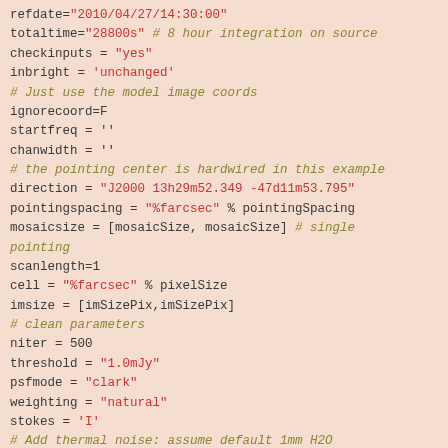refdate="2010/04/27/14:30:00"
totaltime="28800s" # 8 hour integration on source
checkinputs = "yes"
inbright = 'unchanged'
# Just use the model image coords
ignorecoord=F
startfreq = ''
chanwidth = ''
# the pointing center is hardwired in this example
direction = "J2000 13h29m52.349 -47d11m53.795"
pointingspacing = "%farcsec" % pointingSpacing
mosaicsize = [mosaicSize, mosaicSize] # single pointing
scanlength=1
cell = "%farcsec" % pixelSize
imsize = [imSizePix,imSizePix]
# clean parameters
niter = 500
threshold = "1.0mJy"
psfmode = "clark"
weighting = "natural"
stokes = 'I'
# Add thermal noise: assume default 1mm H2O
noise_thermal = True
noise_mode = 'tsys-atm'
user_pwv = 1.0
t_ground = 269.0
verbose = True
async = False
fidelity = True
display = False